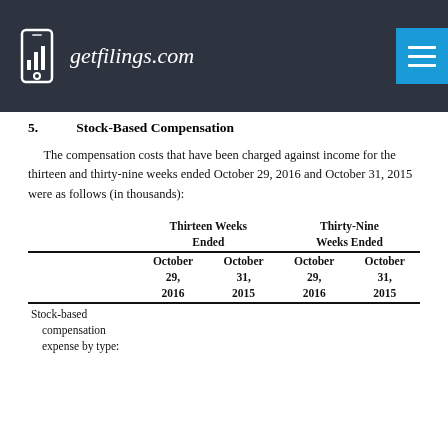getfilings.com
5.    Stock-Based Compensation
The compensation costs that have been charged against income for the thirteen and thirty-nine weeks ended October 29, 2016 and October 31, 2015 were as follows (in thousands):
|  | Thirteen Weeks Ended October 29, 2016 | Thirteen Weeks Ended October 31, 2015 | Thirty-Nine Weeks Ended October 29, 2016 | Thirty-Nine Weeks Ended October 31, 2015 |
| --- | --- | --- | --- | --- |
| Stock-based compensation expense by type: |  |  |  |  |